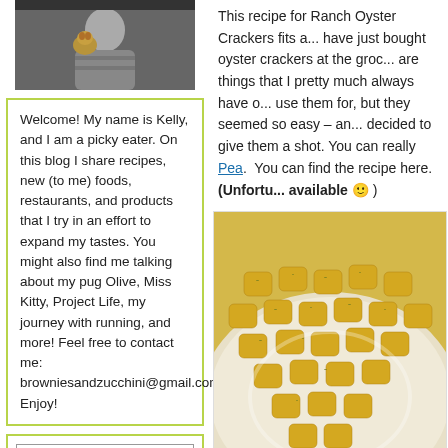[Figure (photo): Profile photo of Kelly, a woman holding a pug dog, wearing a striped shirt]
Welcome! My name is Kelly, and I am a picky eater. On this blog I share recipes, new (to me) foods, restaurants, and products that I try in an effort to expand my tastes. You might also find me talking about my pug Olive, Miss Kitty, Project Life, my journey with running, and more! Feel free to contact me: browniesandzucchini@gmail.com Enjoy!
[Figure (logo): BlogHer Social Media Influencer badge with sunburst design and orange BLOGHER text]
This recipe for Ranch Oyster Crackers fits a... have just bought oyster crackers at the groc... are things that I pretty much always have o... use them for, but they seemed so easy – an... decided to give them a shot. You can really... Pea. You can find the recipe here. (Unfortu... available 🙂 )
[Figure (photo): Close-up photo of golden ranch-seasoned oyster crackers in a white bowl]